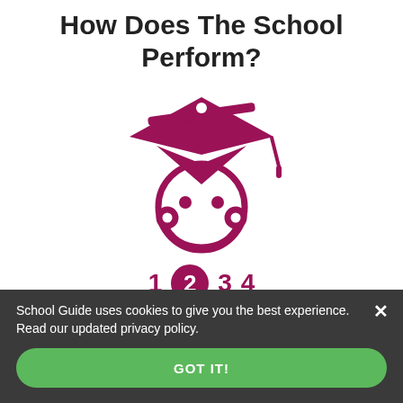How Does The School Perform?
[Figure (illustration): Graduation cap with a student face icon below it, showing a rating scale of 1, 2 (highlighted in filled circle), 3, 4 in dark pink/maroon color]
Ofsted Inspection (15/1/19)
Full Report - All Reports
School Guide uses cookies to give you the best experience. Read our updated privacy policy.
GOT IT!